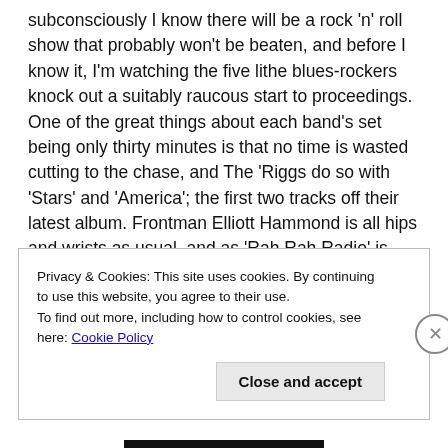subconsciously I know there will be a rock 'n' roll show that probably won't be beaten, and before I know it, I'm watching the five lithe blues-rockers knock out a suitably raucous start to proceedings. One of the great things about each band's set being only thirty minutes is that no time is wasted cutting to the chase, and The 'Riggs do so with 'Stars' and 'America'; the first two tracks off their latest album. Frontman Elliott Hammond is all hips and wrists as usual, and as 'Rah Rah Radio' is fired off into a rapidly filling venue, we all know we're in
Privacy & Cookies: This site uses cookies. By continuing to use this website, you agree to their use.
To find out more, including how to control cookies, see here: Cookie Policy
Close and accept